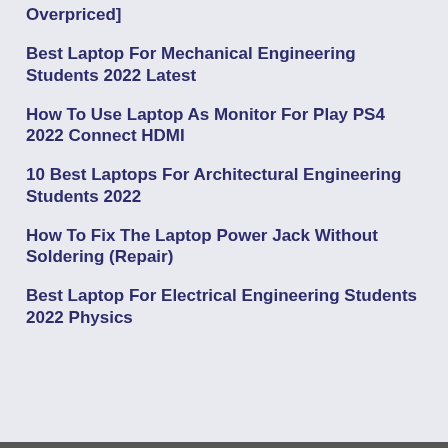Overpriced]
Best Laptop For Mechanical Engineering Students 2022 Latest
How To Use Laptop As Monitor For Play PS4 2022 Connect HDMI
10 Best Laptops For Architectural Engineering Students 2022
How To Fix The Laptop Power Jack Without Soldering (Repair)
Best Laptop For Electrical Engineering Students 2022 Physics